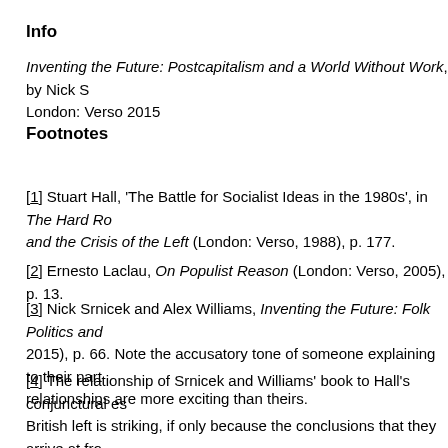Info
Inventing the Future: Postcapitalism and a World Without Work, by Nick S... London: Verso 2015
Footnotes
[1] Stuart Hall, 'The Battle for Socialist Ideas in the 1980s', in The Hard Ro... and the Crisis of the Left (London: Verso, 1988), p. 177.
[2] Ernesto Laclau, On Populist Reason (London: Verso, 2005), p. 13.
[3] Nick Srnicek and Alex Williams, Inventing the Future: Folk Politics and... 2015), p. 66. Note the accusatory tone of someone explaining to their part... relationships are more exciting than theirs.
[4] The relationship of Srnicek and Williams' book to Hall's conjunctural es... British left is striking, if only because the conclusions that they arrive at fro... premises are at first glance so incompatible (Hall arguing against 'econom... Srnicek and Williams arguing against left 'subculturalism' in favour of prog... the divergence can at least partly be explained by the predictable historica... 'culture' did in fact become hegemonic in a period of capitalist growth, only... again in a period of capitalist decline, which is to say by the fact that his p... down in practice well before any group of his theoretical inheritors could u... down in theory. It should also be said that the essays collected in The Ha...